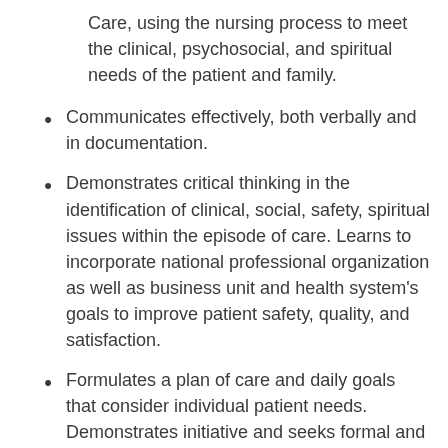Care, using the nursing process to meet the clinical, psychosocial, and spiritual needs of the patient and family.
Communicates effectively, both verbally and in documentation.
Demonstrates critical thinking in the identification of clinical, social, safety, spiritual issues within the episode of care. Learns to incorporate national professional organization as well as business unit and health system's goals to improve patient safety, quality, and satisfaction.
Formulates a plan of care and daily goals that consider individual patient needs. Demonstrates initiative and seeks formal and informal opportunities to improve clinical practice. Seeks guidance and asks questions to